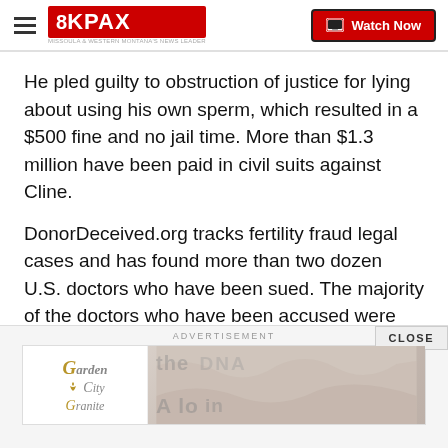8KPAX | Watch Now
He pled guilty to obstruction of justice for lying about using his own sperm, which resulted in a $500 fine and no jail time. More than $1.3 million have been paid in civil suits against Cline.
DonorDeceived.org tracks fertility fraud legal cases and has found more than two dozen U.S. doctors who have been sued. The majority of the doctors who have been accused were discovered as a result of DNA tests, like Ancestry.com or 23 and Me.